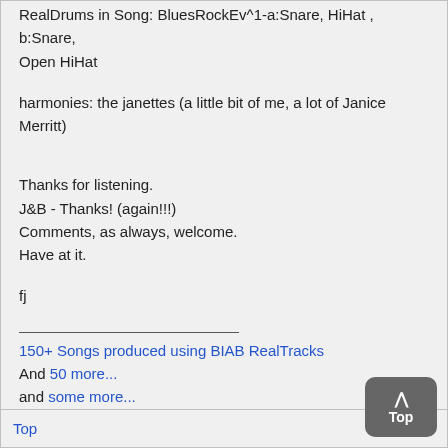rendered with a Studio One organ (Synth)
RealDrums in Song: BluesRockEv^1-a:Snare, HiHat , b:Snare, Open HiHat
harmonies: the janettes (a little bit of me, a lot of Janice Merritt)
Thanks for listening.
J&B - Thanks! (again!!!)
Comments, as always, welcome.
Have at it.
fj
150+ Songs produced using BIAB RealTracks
And 50 more...
and some more...
Top